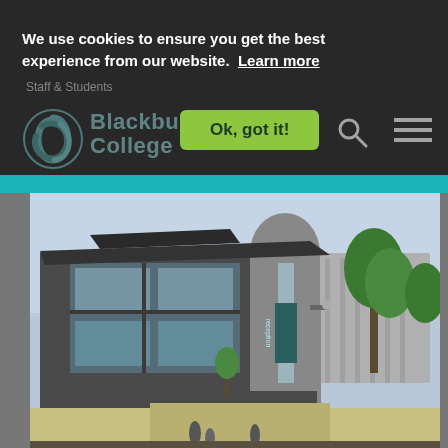Staff & Students
We use cookies to ensure you get the best experience from our website.  Learn more
Ok, got it!
[Figure (logo): Blackburn College logo with teal swirl and text 'Blackburn College']
[Figure (photo): Exterior photo of Blackburn College main building, a modern dark-clad building with large glass windows and a curved stone tower, reception entrance visible, trees on the right, people walking in the foreground]